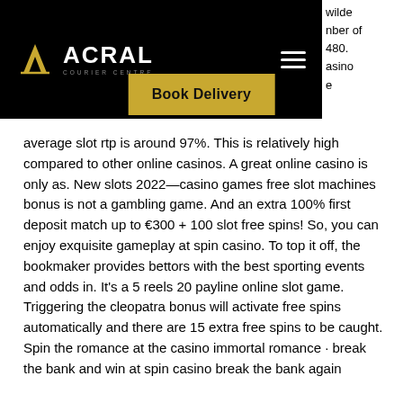ACRAL COURIER CENTRE
wilde
nber of
480.
asino
e
Book Delivery
average slot rtp is around 97%. This is relatively high compared to other online casinos. A great online casino is only as. New slots 2022–casino games free slot machines bonus is not a gambling game. And an extra 100% first deposit match up to €300 + 100 slot free spins! So, you can enjoy exquisite gameplay at spin casino. To top it off, the bookmaker provides bettors with the best sporting events and odds in. It's a 5 reels 20 payline online slot game. Triggering the cleopatra bonus will activate free spins automatically and there are 15 extra free spins to be caught. Spin the romance at the casino immortal romance · break the bank and win at spin casino break the bank again